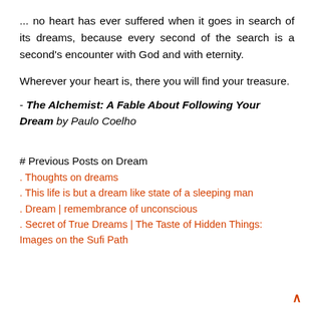... no heart has ever suffered when it goes in search of its dreams, because every second of the search is a second's encounter with God and with eternity.
Wherever your heart is, there you will find your treasure.
- The Alchemist: A Fable About Following Your Dream by Paulo Coelho
# Previous Posts on Dream
. Thoughts on dreams
. This life is but a dream like state of a sleeping man
. Dream | remembrance of unconscious
. Secret of True Dreams | The Taste of Hidden Things: Images on the Sufi Path